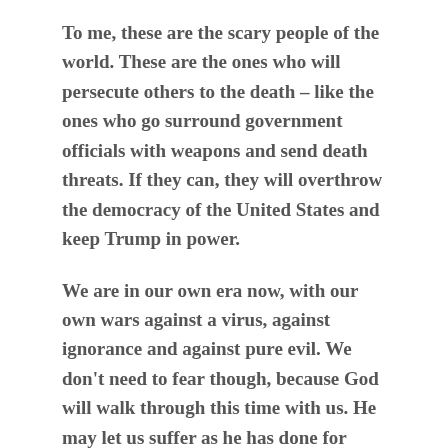To me, these are the scary people of the world. These are the ones who will persecute others to the death – like the ones who go surround government officials with weapons and send death threats. If they can, they will overthrow the democracy of the United States and keep Trump in power.
We are in our own era now, with our own wars against a virus, against ignorance and against pure evil. We don't need to fear though, because God will walk through this time with us. He may let us suffer as he has done for millions in the past. We may lose our lives to violence by the hand of evil people.
But as the song says, Jesus did too. Aside from